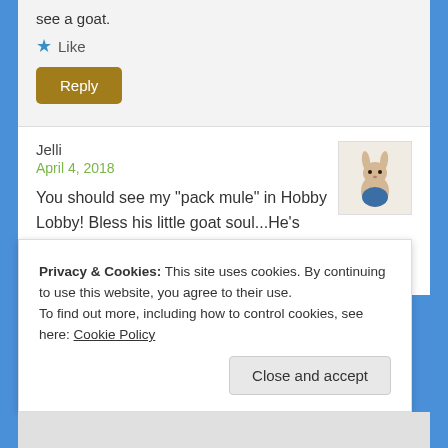see a goat.
Like
Reply
Jelli
April 4, 2018
[Figure (illustration): Small stuffed bunny/rabbit toy avatar with blue outfit]
You should see my “pack mule” in Hobby Lobby! Bless his little goat soul...He's discovered they have a whole aisle of manly models...car, trucks,
Privacy & Cookies: This site uses cookies. By continuing to use this website, you agree to their use.
To find out more, including how to control cookies, see here: Cookie Policy
Close and accept